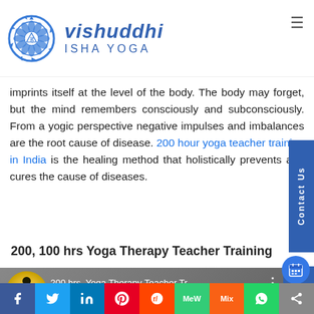[Figure (logo): Vishuddhi Isha Yoga logo with blue chakra symbol and stylized text]
imprints itself at the level of the body. The body may forget, but the mind remembers consciously and subconsciously. From a yogic perspective negative impulses and imbalances are the root cause of disease. 200 hour yoga teacher training in India is the healing method that holistically prevents and cures the cause of diseases.
200, 100 hrs Yoga Therapy Teacher Training
[Figure (screenshot): YouTube video thumbnail for 200 hrs. Yoga Therapy Teacher Training with play button and Overview text overlay]
[Figure (infographic): Social media sharing bar with Facebook, Twitter, LinkedIn, Pinterest, Reddit, MeWe, Mix, WhatsApp, Share buttons]